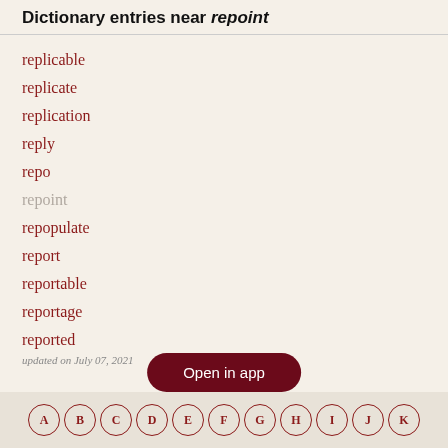Dictionary entries near repoint
replicable
replicate
replication
reply
repo
repoint
repopulate
report
reportable
reportage
reported
updated on July 07, 2021